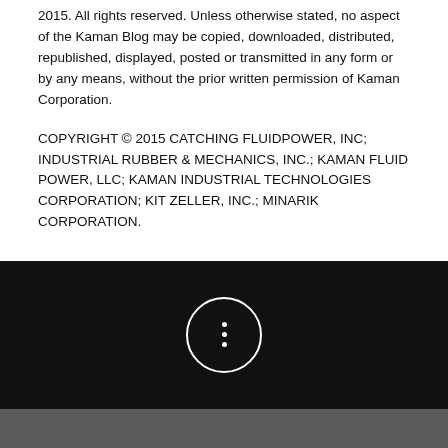2015. All rights reserved. Unless otherwise stated, no aspect of the Kaman Blog may be copied, downloaded, distributed, republished, displayed, posted or transmitted in any form or by any means, without the prior written permission of Kaman Corporation.
COPYRIGHT © 2015 CATCHING FLUIDPOWER, INC; INDUSTRIAL RUBBER & MECHANICS, INC.; KAMAN FLUID POWER, LLC; KAMAN INDUSTRIAL TECHNOLOGIES CORPORATION; KIT ZELLER, INC.; MINARIK CORPORATION.
[Figure (other): Black band with a circular button icon containing three vertical dots]
[Figure (other): Loading spinner icon on gray background]
© 2021 Kaman Distribution. All rights reserved.